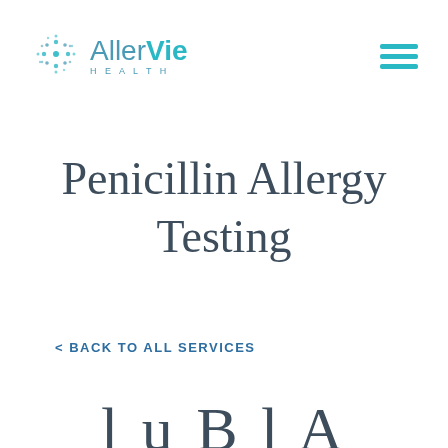[Figure (logo): AllerVie Health logo with stylized dot-cluster icon and text 'AllerVie HEALTH']
Penicillin Allergy Testing
< BACK TO ALL SERVICES
I u B l A